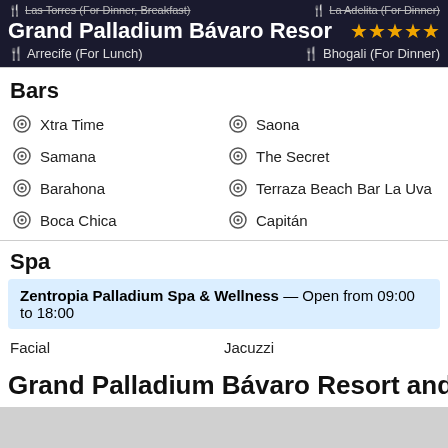Grand Palladium Bávaro Resort
Bars
Xtra Time
Saona
Samana
The Secret
Barahona
Terraza Beach Bar La Uva
Boca Chica
Capitán
Spa
Zentropia Palladium Spa & Wellness — Open from 09:00 to 18:00
Facial
Jacuzzi
Grand Palladium Bávaro Resort and Spa loc